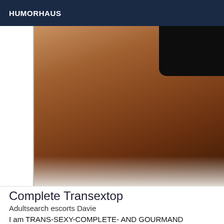HUMORHAUS
[Figure (photo): Close-up photograph of a person wearing a black garment, posed on a white surface, showing lower body]
Complete Transextop
Adultsearch escorts Davie
I am TRANS-SEXY-COMPLETE- AND GOURMAND